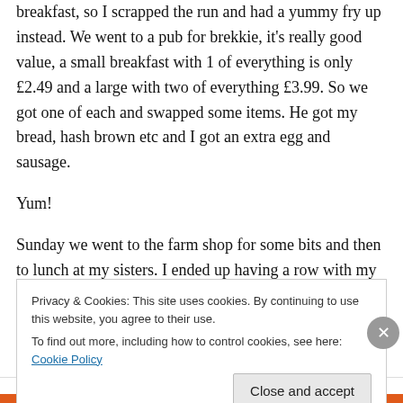breakfast, so I scrapped the run and had a yummy fry up instead. We went to a pub for brekkie, it's really good value, a small breakfast with 1 of everything is only £2.49 and a large with two of everything £3.99. So we got one of each and swapped some items. He got my bread, hash brown etc and I got an extra egg and sausage.
Yum!
Sunday we went to the farm shop for some bits and then to lunch at my sisters. I ended up having a row with my other sister, she is so negative about everything and rants
Privacy & Cookies: This site uses cookies. By continuing to use this website, you agree to their use.
To find out more, including how to control cookies, see here: Cookie Policy
Close and accept
Advertisements